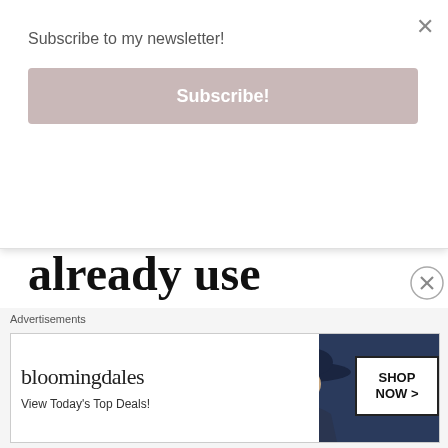Subscribe to my newsletter!
Subscribe!
already use
This is an incredibly obvious one but should be your bread and butter because pitching to brands that you ALREADY use already gives you the leg up because it allows you to tell them what you love about their brands and products already. They already know they're talking to a fan and you'll be
Advertisements
[Figure (screenshot): Bloomingdale's advertisement banner with text 'bloomingdales', 'View Today's Top Deals!', and 'SHOP NOW >' button, with an image of a woman in a wide-brim hat]